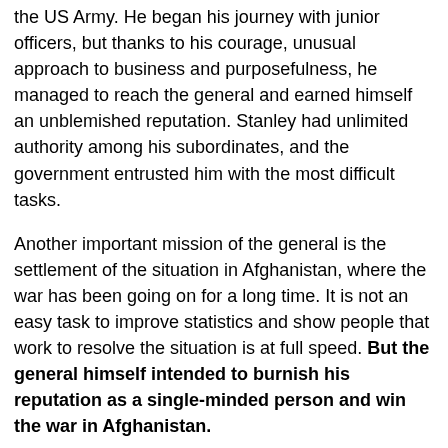the US Army. He began his journey with junior officers, but thanks to his courage, unusual approach to business and purposefulness, he managed to reach the general and earned himself an unblemished reputation. Stanley had unlimited authority among his subordinates, and the government entrusted him with the most difficult tasks.
Another important mission of the general is the settlement of the situation in Afghanistan, where the war has been going on for a long time. It is not an easy task to improve statistics and show people that work to resolve the situation is at full speed. But the general himself intended to burnish his reputation as a single-minded person and win the war in Afghanistan.
[Figure (photo): A blonde man in military attire speaking, with a rocky mountainous background, likely depicting a military figure in Afghanistan.]